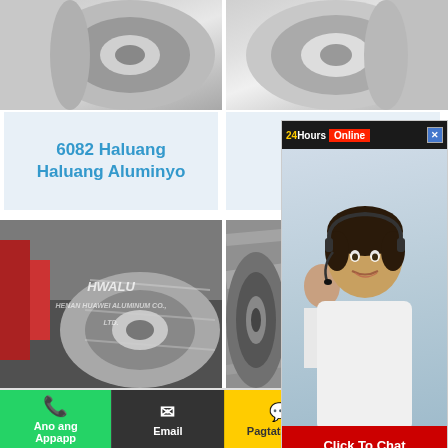[Figure (photo): Two silver aluminum coil rolls, top portion cropped, shown side by side on white/grey background]
6082 Haluang Haluang Aluminyo
6063 Ha... Haluang A...
[Figure (photo): Silver aluminum coil roll on factory floor with HWALU watermark]
[Figure (photo): Silver aluminum coil sheet roll with HWALU watermark]
[Figure (photo): 24Hours Online chat popup with agent photo and Click To Chat button]
Ano ang Appapp
Email
Pagtatanong
Tuktok